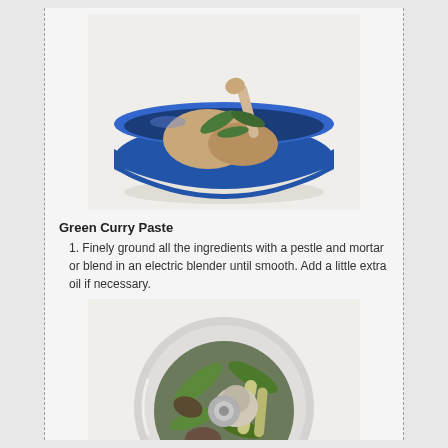[Figure (photo): A blue and white bowl containing cooked chicken pieces with green curry leaves and sauce on a white background]
Green Curry Paste
Finely ground all the ingredients with a pestle and mortar or blend in an electric blender until smooth. Add a little extra oil if necessary.
[Figure (photo): A food processor bowl containing ingredients for green curry paste including green leaves, lemongrass, mushrooms, and other spices]